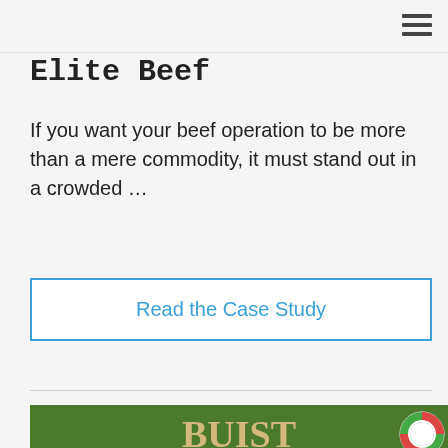☰
Elite Beef
If you want your beef operation to be more than a mere commodity, it must stand out in a crowded ...
Read the Case Study
[Figure (logo): Green banner with text BUIST BYARS & in cream/gold serif font on dark green background, partially visible at bottom of page]